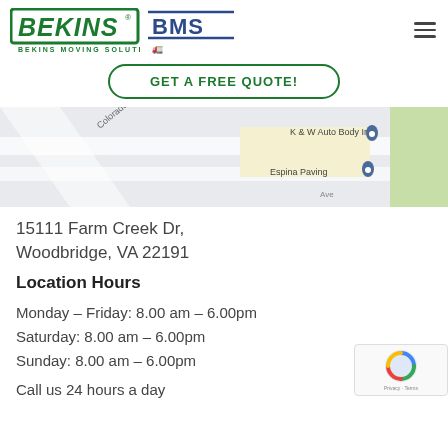[Figure (logo): Bekins Moving Solutions and BMS logos side by side, with a hamburger menu icon on the right]
GET A FREE QUOTE!
[Figure (map): Street map showing K & W Auto Body Inc and Espina Paving locations near Colorado Ave]
15111 Farm Creek Dr,
Woodbridge, VA 22191
Location Hours
Monday – Friday: 8.00 am – 6.00pm
Saturday: 8.00 am – 6.00pm
Sunday: 8.00 am – 6.00pm
Call us 24 hours a day